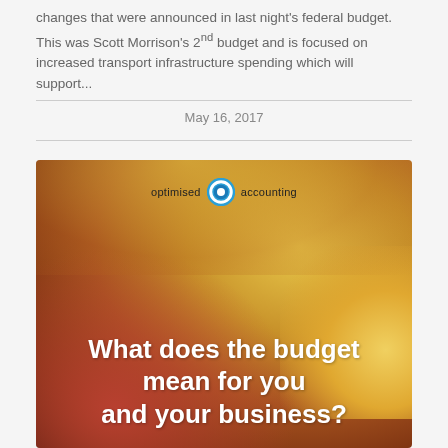changes that were announced in last night's federal budget. This was Scott Morrison's 2nd budget and is focused on increased transport infrastructure spending which will support...
May 16, 2017
[Figure (illustration): Optimised Accounting branded image with golden/red blurred bokeh background showing coins. White bold text reads: 'What does the budget mean for you and your business?']